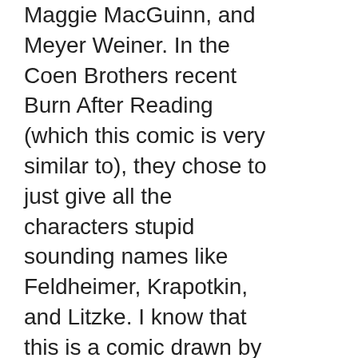Maggie MacGuinn, and Meyer Weiner. In the Coen Brothers recent Burn After Reading (which this comic is very similar to), they chose to just give all the characters stupid sounding names like Feldheimer, Krapotkin, and Litzke. I know that this is a comic drawn by Philip Bond and oh holy tapdancing christ Philip Bond is better than everyone else, he's never drawn a bad comic ever. Tischman isn't taking a shit here,